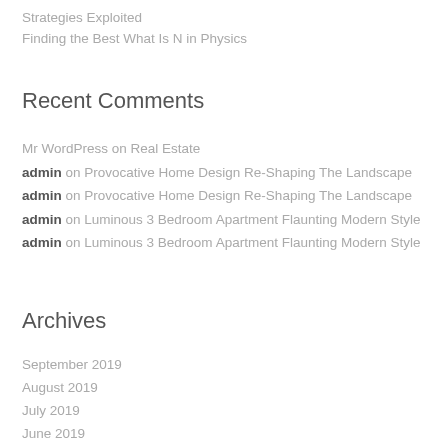Strategies Exploited
Finding the Best What Is N in Physics
Recent Comments
Mr WordPress on Real Estate
admin on Provocative Home Design Re-Shaping The Landscape
admin on Provocative Home Design Re-Shaping The Landscape
admin on Luminous 3 Bedroom Apartment Flaunting Modern Style
admin on Luminous 3 Bedroom Apartment Flaunting Modern Style
Archives
September 2019
August 2019
July 2019
June 2019
May 2019
April 2019